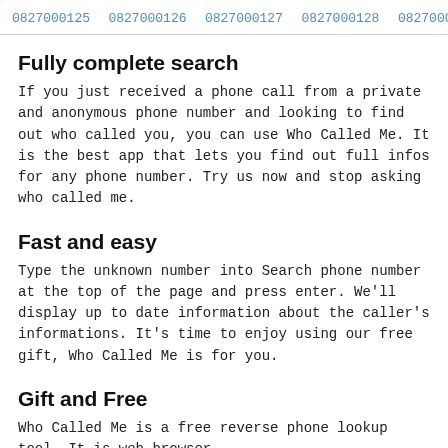0827000125  0827000126  0827000127  0827000128  0827000129  0...
Fully complete search
If you just received a phone call from a private and anonymous phone number and looking to find out who called you, you can use Who Called Me. It is the best app that lets you find out full infos for any phone number. Try us now and stop asking who called me.
Fast and easy
Type the unknown number into Search phone number at the top of the page and press enter. We'll display up to date information about the caller's informations. It's time to enjoy using our free gift, Who Called Me is for you.
Gift and Free
Who Called Me is a free reverse phone lookup tool. It is web browser...